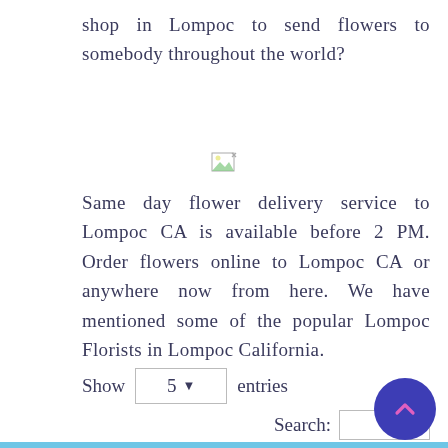shop in Lompoc to send flowers to somebody throughout the world?
[Figure (other): Broken/missing image placeholder icon]
Same day flower delivery service to Lompoc CA is available before 2 PM. Order flowers online to Lompoc CA or anywhere now from here. We have mentioned some of the popular Lompoc Florists in Lompoc California.
Show 5 entries
Search: